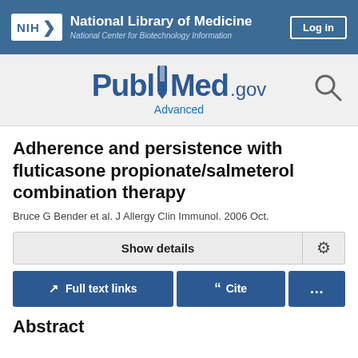NIH National Library of Medicine National Center for Biotechnology Information | Log in
[Figure (logo): PubMed.gov logo with Advanced search link and search icon]
Adherence and persistence with fluticasone propionate/salmeterol combination therapy
Bruce G Bender et al. J Allergy Clin Immunol. 2006 Oct.
Show details
Full text links | Cite | ...
Abstract